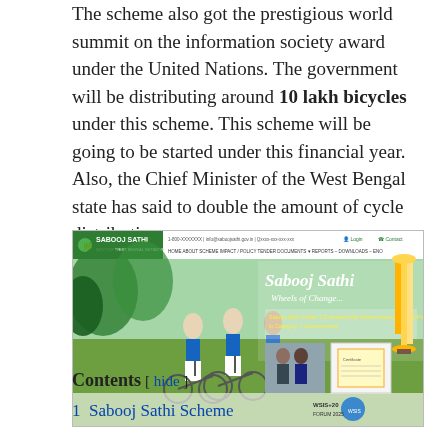The scheme also got the prestigious world summit on the information society award under the United Nations. The government will be distributing around 10 lakh bicycles under this scheme. This scheme will be going to be started under this financial year. Also, the Chief Minister of the West Bengal state has said to double the amount of cycle distribution.
[Figure (screenshot): Screenshot of Sabooj Sathi website showing students on bicycles with text 'Sabooj Sathi - Wheels of Change...' and WSIS Prize 2023 winner award banner.]
Contents [ hide ]
1 Sabooj Sathi Scheme